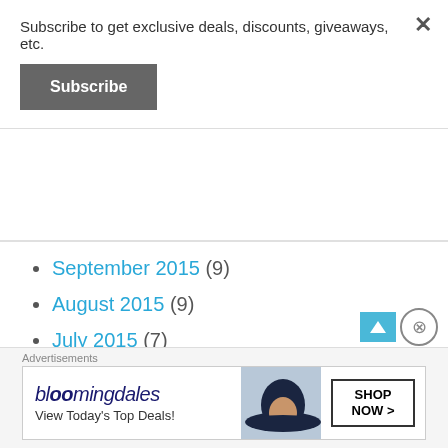Subscribe to get exclusive deals, discounts, giveaways, etc.
Subscribe
September 2015 (9)
August 2015 (9)
July 2015 (7)
June 2015 (10)
May 2015 (10)
April 2015 (11)
March 2015 (10)
Advertisements
[Figure (screenshot): Bloomingdale's advertisement banner: 'View Today's Top Deals!' with SHOP NOW > button]